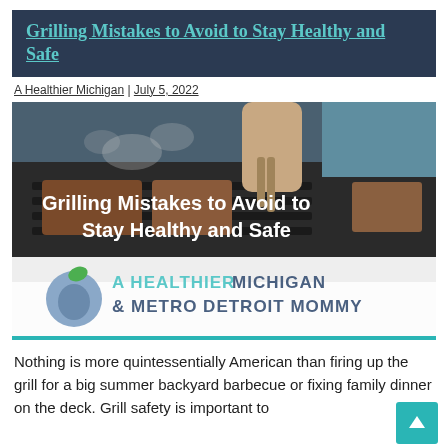Grilling Mistakes to Avoid to Stay Healthy and Safe
A Healthier Michigan | July 5, 2022
[Figure (photo): Photo of hands grilling meat on a barbecue grill with smoke, overlaid with white text 'Grilling Mistakes to Avoid to Stay Healthy and Safe', and a lower banner with 'A HEALTHIER MICHIGAN & METRO DETROIT MOMMY' branding with a blue apple logo.]
Nothing is more quintessentially American than firing up the grill for a big summer backyard barbecue or fixing family dinner on the deck. Grill safety is important to